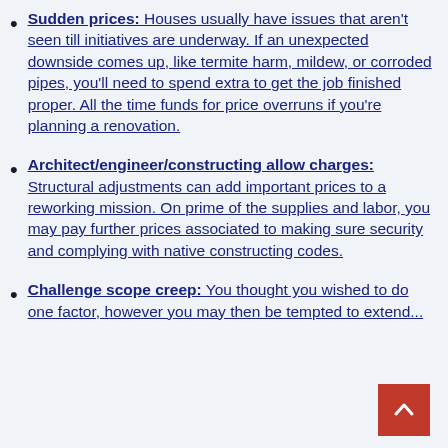Sudden prices: Houses usually have issues that aren't seen till initiatives are underway. If an unexpected downside comes up, like termite harm, mildew, or corroded pipes, you'll need to spend extra to get the job finished proper. All the time funds for price overruns if you're planning a renovation.
Architect/engineer/constructing allow charges: Structural adjustments can add important prices to a reworking mission. On prime of the supplies and labor, you may pay further prices associated to making sure security and complying with native constructing codes.
Challenge scope creep: You thought you wished to do one factor, however you may then be tempted to extend...